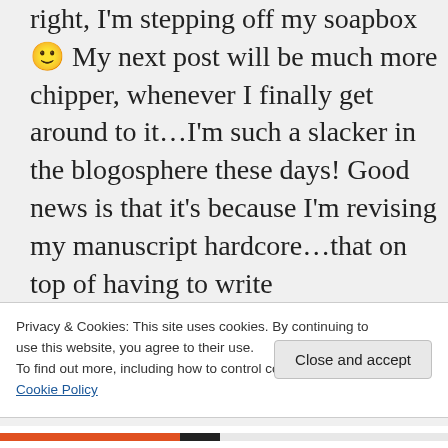right, I'm stepping off my soapbox 🙂 My next post will be much more chipper, whenever I finally get around to it…I'm such a slacker in the blogosphere these days! Good news is that it's because I'm revising my manuscript hardcore…that on top of having to write
Privacy & Cookies: This site uses cookies. By continuing to use this website, you agree to their use.
To find out more, including how to control cookies, see here: Cookie Policy